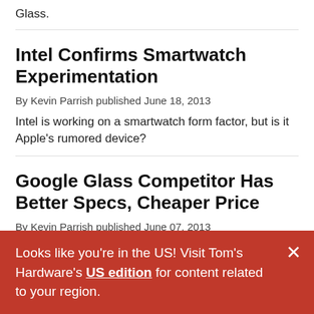Glass.
Intel Confirms Smartwatch Experimentation
By Kevin Parrish published June 18, 2013
Intel is working on a smartwatch form factor, but is it Apple's rumored device?
Google Glass Competitor Has Better Specs, Cheaper Price
By Kevin Parrish published June 07, 2013
These AR specs may cost $500 and feature better
Looks like you're in the US! Visit Tom's Hardware's US edition for content related to your region.